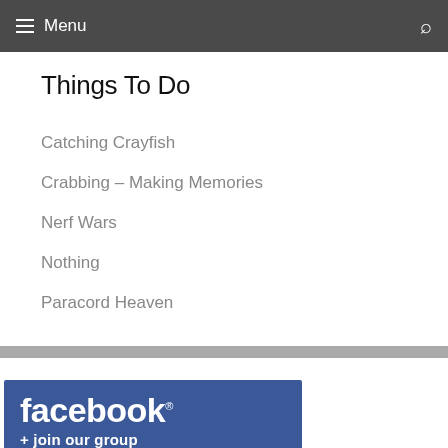Menu
Things To Do
Catching Crayfish
Crabbing – Making Memories
Nerf Wars
Nothing
Paracord Heaven
[Figure (logo): Facebook logo banner with text 'facebook ® + join our group' on dark blue background]